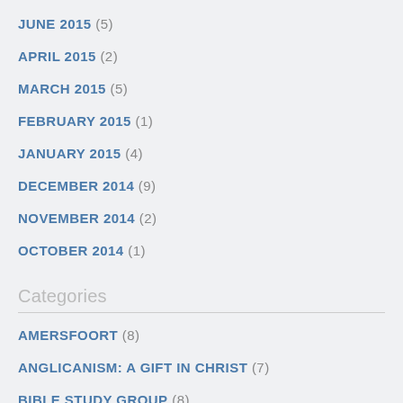JUNE 2015 (5)
APRIL 2015 (2)
MARCH 2015 (5)
FEBRUARY 2015 (1)
JANUARY 2015 (4)
DECEMBER 2014 (9)
NOVEMBER 2014 (2)
OCTOBER 2014 (1)
Categories
AMERSFOORT (8)
ANGLICANISM: A GIFT IN CHRIST (7)
BIBLE STUDY GROUP (8)
BOOK REVIEW (6)